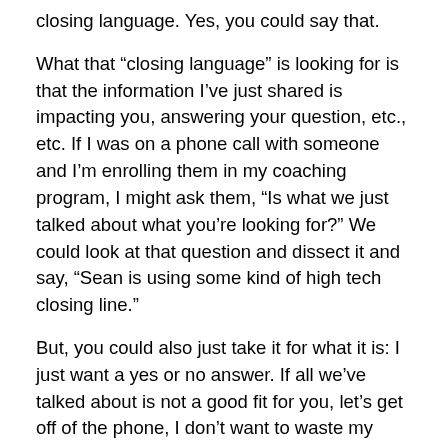closing language. Yes, you could say that.
What that “closing language” is looking for is that the information I’ve just shared is impacting you, answering your question, etc., etc. If I was on a phone call with someone and I’m enrolling them in my coaching program, I might ask them, “Is what we just talked about what you’re looking for?” We could look at that question and dissect it and say, “Sean is using some kind of high tech closing line.”
But, you could also just take it for what it is: I just want a yes or no answer. If all we’ve talked about is not a good fit for you, let’s get off of the phone, I don’t want to waste my time anymore, you don’t want to waste your time anymore. If it’s a good fit, then my next question might be, “Do you want to get started today?”
It’s amazing how many sales books use that line… for example that’s in chapter 13, on closing. There’s an entire chapter on this. And yet to me, it’s no more